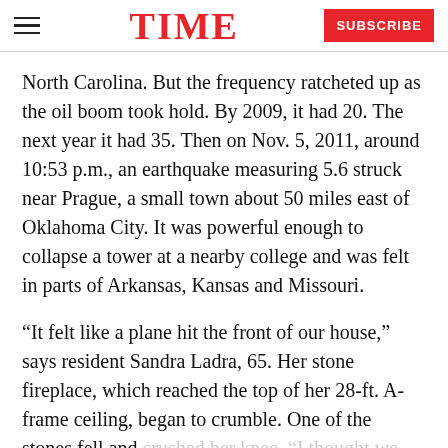TIME | SUBSCRIBE
North Carolina. But the frequency ratcheted up as the oil boom took hold. By 2009, it had 20. The next year it had 35. Then on Nov. 5, 2011, around 10:53 p.m., an earthquake measuring 5.6 struck near Prague, a small town about 50 miles east of Oklahoma City. It was powerful enough to collapse a tower at a nearby college and was felt in parts of Arkansas, Kansas and Missouri.
“It felt like a plane hit the front of our house,” says resident Sandra Ladra, 65. Her stone fireplace, which reached the top of her 28-ft. A-frame ceiling, began to crumble. One of the stones fell and crushed her knee. “I thought we were going to die.